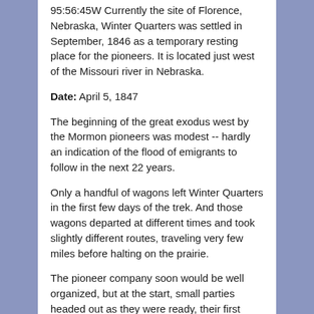95:56:45W Currently the site of Florence, Nebraska, Winter Quarters was settled in September, 1846 as a temporary resting place for the pioneers. It is located just west of the Missouri river in Nebraska.
Date: April 5, 1847
The beginning of the great exodus west by the Mormon pioneers was modest -- hardly an indication of the flood of emigrants to follow in the next 22 years.
Only a handful of wagons left Winter Quarters in the first few days of the trek. And those wagons departed at different times and took slightly different routes, traveling very few miles before halting on the prairie.
The pioneer company soon would be well organized, but at the start, small parties headed out as they were ready, their first objective being the Elkhorn River some 30 miles to the west. The river had been...